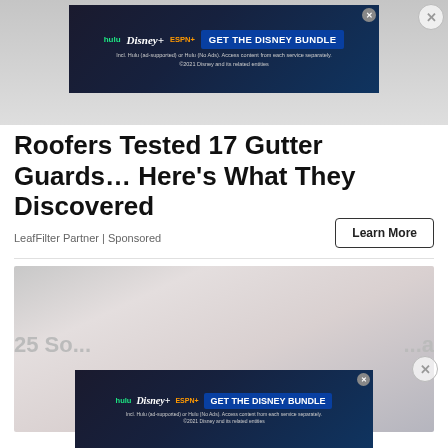[Figure (photo): Top banner image strip, partially visible, light gray]
[Figure (infographic): Disney Bundle advertisement banner: hulu Disney+ ESPN+ GET THE DISNEY BUNDLE. Incl. Hulu (ad-supported) or Hulu (No Ads). Access content from each service separately. ©2021 Disney and its related entities]
Roofers Tested 17 Gutter Guards… Here's What They Discovered
LeafFilter Partner | Sponsored
Learn More
[Figure (photo): A woman with blonde hair and glasses looking at a phone, light tones, faded]
[Figure (infographic): Disney Bundle advertisement banner at bottom: hulu Disney+ ESPN+ GET THE DISNEY BUNDLE. Incl. Hulu (ad-supported) or Hulu (No Ads). Access content from each service separately. ©2021 Disney and its related entities]
25 So...                                                        a